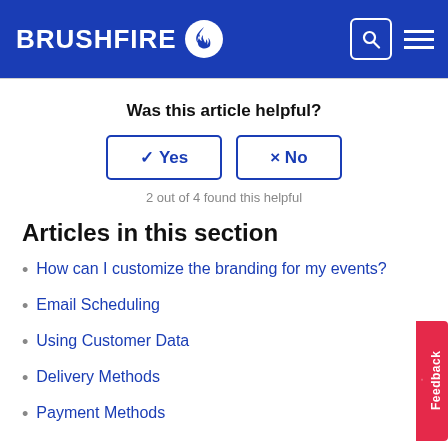BRUSHFIRE
Was this article helpful?
✓ Yes   × No
2 out of 4 found this helpful
Articles in this section
How can I customize the branding for my events?
Email Scheduling
Using Customer Data
Delivery Methods
Payment Methods